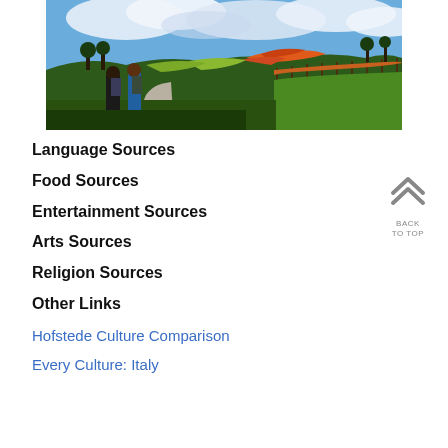[Figure (photo): Countryside vineyard scene with rolling hills, colorful autumn foliage, orange-red wildflowers, and two people walking along a road in the foreground under a blue cloudy sky.]
Language Sources
Food Sources
Entertainment Sources
Arts Sources
Religion Sources
Other Links
Hofstede Culture Comparison
Every Culture: Italy